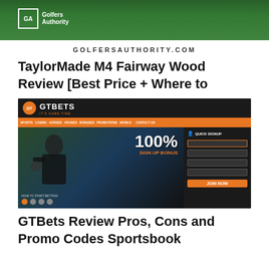[Figure (photo): Golf course outdoor photo with Golfers Authority logo overlay showing GA initials in a square and text 'Golfers Authority']
GOLFERSAUTHORITY.COM
TaylorMade M4 Fairway Wood Review [Best Price + Where to
[Figure (screenshot): Screenshot of GTBets website showing 100% Sign Up Bonus promotional banner with a football player, navigation bar in orange, Quick Signup form on the right, and thumbnail images at the bottom]
GTBets Review Pros, Cons and Promo Codes Sportsbook